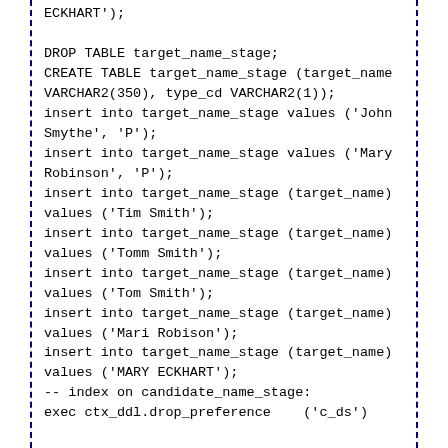ECKHART');

DROP TABLE target_name_stage;
CREATE TABLE target_name_stage (target_name VARCHAR2(350), type_cd VARCHAR2(1));
insert into target_name_stage values ('John Smythe', 'P');
insert into target_name_stage values ('Mary Robinson', 'P');
insert into target_name_stage (target_name) values ('Tim Smith');
insert into target_name_stage (target_name) values ('Tomm Smith');
insert into target_name_stage (target_name) values ('Tom Smith');
insert into target_name_stage (target_name) values ('Mari Robison');
insert into target_name_stage (target_name) values ('MARY ECKHART');
-- index on candidate_name_stage:
exec ctx_ddl.drop_preference    ('c_ds')